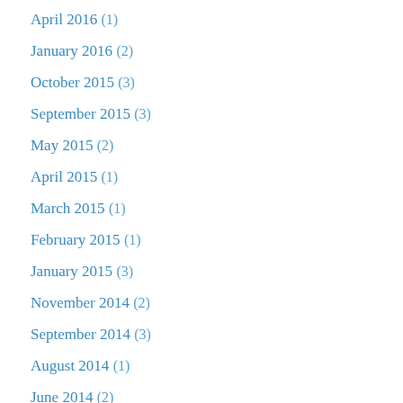April 2016 (1)
January 2016 (2)
October 2015 (3)
September 2015 (3)
May 2015 (2)
April 2015 (1)
March 2015 (1)
February 2015 (1)
January 2015 (3)
November 2014 (2)
September 2014 (3)
August 2014 (1)
June 2014 (2)
May 2014 (3)
April 2014 (7)
March 2014 (2)
February 2014 (3)
January 2014 (5)
December 2013 (5)
November 2013 (1)